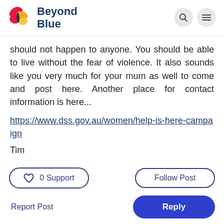Beyond Blue
should not happen to anyone. You should be able to live without the fear of violence. It also sounds like you very much for your mum as well to come and post here. Another place for contact information is here... https://www.dss.gov.au/women/help-is-here-campaign
Tim
0 Support | Follow Post
Report Post | Reply